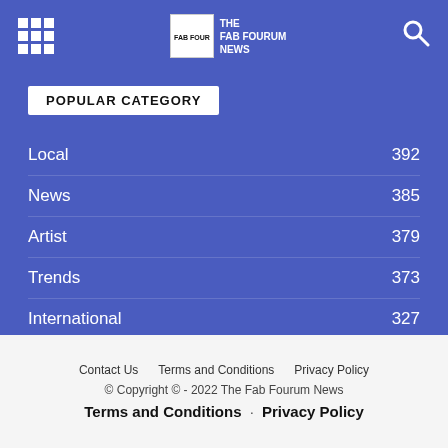The Fab Fourum News - Navigation
POPULAR CATEGORY
Local 392
News 385
Artist 379
Trends 373
International 327
Contact Us   Terms and Conditions   Privacy Policy
© Copyright © - 2022 The Fab Fourum News
Terms and Conditions · Privacy Policy